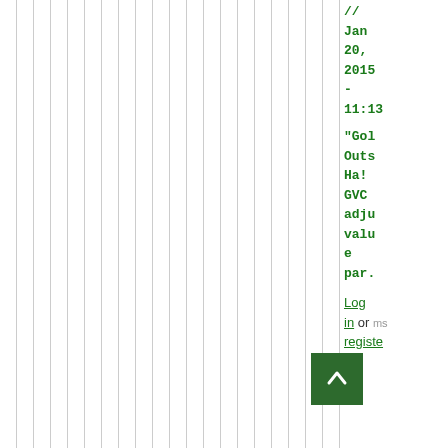[Figure (other): Vertical gray striped background pattern covering the left portion of the page]
// Jan 20, 2015 - 11:13
"Golf Outside Ha! GVC adjust value en par.
Log in or register
[Figure (other): Green scroll-to-top button with white upward arrow chevron]